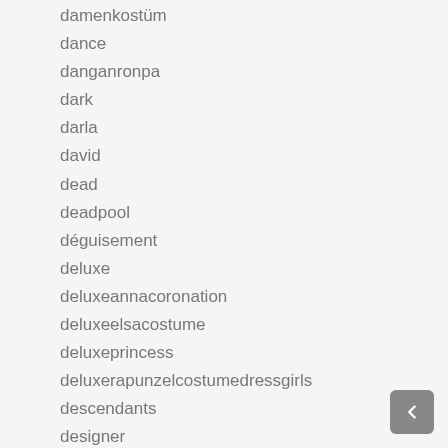damenkostüm
dance
danganronpa
dark
darla
david
dead
deadpool
déguisement
deluxe
deluxeannacoronation
deluxeelsacostume
deluxeprincess
deluxerapunzelcostumedressgirls
descendants
designer
designers
despicable
devil
diney
disco